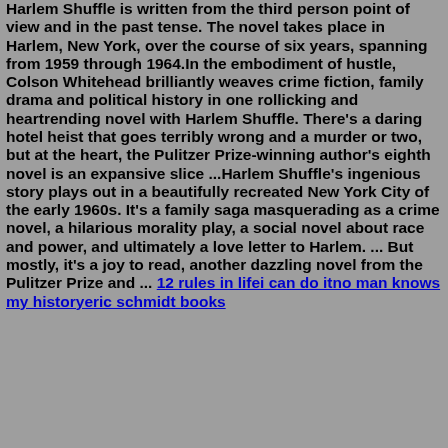Harlem Shuffle is written from the third person point of view and in the past tense. The novel takes place in Harlem, New York, over the course of six years, spanning from 1959 through 1964.In the embodiment of hustle, Colson Whitehead brilliantly weaves crime fiction, family drama and political history in one rollicking and heartrending novel with Harlem Shuffle. There's a daring hotel heist that goes terribly wrong and a murder or two, but at the heart, the Pulitzer Prize-winning author's eighth novel is an expansive slice ...Harlem Shuffle's ingenious story plays out in a beautifully recreated New York City of the early 1960s. It's a family saga masquerading as a crime novel, a hilarious morality play, a social novel about race and power, and ultimately a love letter to Harlem. ... But mostly, it's a joy to read, another dazzling novel from the Pulitzer Prize and ... 12 rules in lifei can do itno man knows my historyeric schmidt books